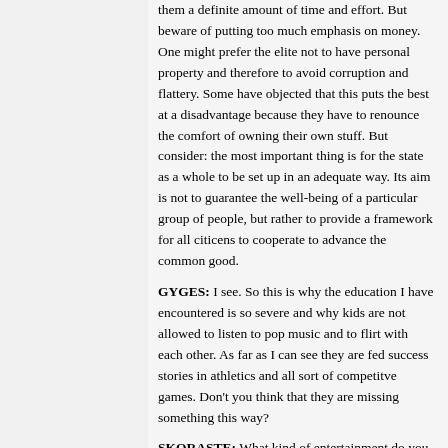them a definite amount of time and effort. But beware of putting too much emphasis on money. One might prefer the elite not to have personal property and therefore to avoid corruption and flattery. Some have objected that this puts the best at a disadvantage because they have to renounce the comfort of owning their own stuff. But consider: the most important thing is for the state as a whole to be set up in an adequate way. Its aim is not to guarantee the well-being of a particular group of people, but rather to provide a framework for all citicens to cooperate to advance the common good.
GYGES: I see. So this is why the education I have encountered is so severe and why kids are not allowed to listen to pop music and to flirt with each other. As far as I can see they are fed success stories in athletics and all sort of competitve games. Don't you think that they are missing something this way?
SKORASTE: What kind of entertainment do you have in mind? It seems to me that they can easily do without morbid films like "Rul...